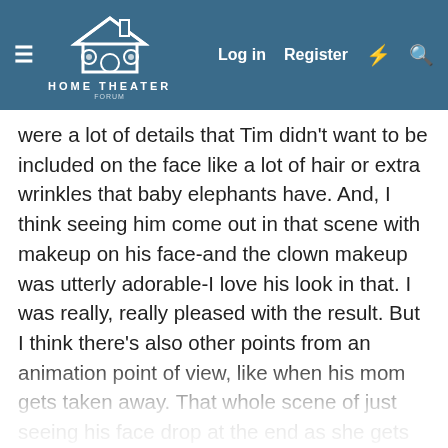Home Theater Forum — Log in | Register
were a lot of details that Tim didn't want to be included on the face like a lot of hair or extra wrinkles that baby elephants have. And, I think seeing him come out in that scene with makeup on his face-and the clown makeup was utterly adorable-I love his look in that. I was really, really pleased with the result. But I think there's also other points from an animation point of view, like when his mom gets taken away. That whole scene of just seeing his face drop at the end as she gets taken away in the truck is a real kind of emotional drive in there! And hearing that with the music was something that had a real impact on me because you tend to work a little more coldly with what you're doing. You know what your end goal is, but I think once it comes together with everybody else's contributions, it's amazing the result and impact that can have. And whilst that was also great and emotional, the scene before, when he goes to visit his mom when she's locked up also has that effect. And Mrs. Jumbo's trunk curling around Dumbo's head and